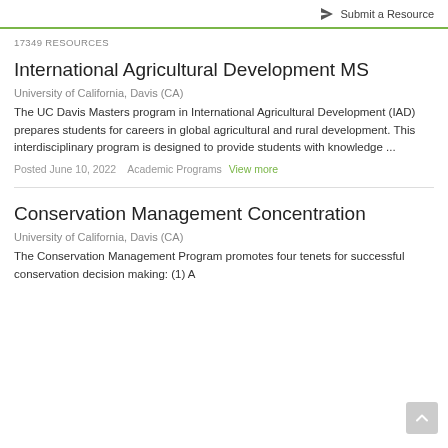Submit a Resource
17349 RESOURCES
International Agricultural Development MS
University of California, Davis (CA)
The UC Davis Masters program in International Agricultural Development (IAD) prepares students for careers in global agricultural and rural development. This interdisciplinary program is designed to provide students with knowledge ...
Posted June 10, 2022   Academic Programs   View more
Conservation Management Concentration
University of California, Davis (CA)
The Conservation Management Program promotes four tenets for successful conservation decision making: (1) A